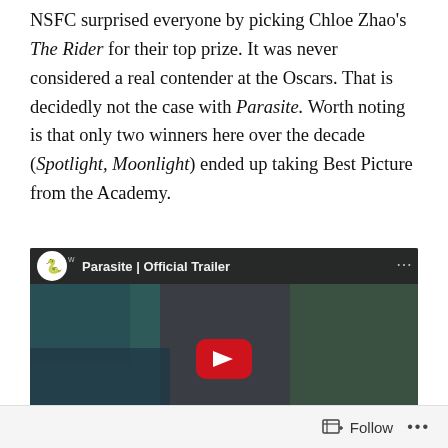NSFC surprised everyone by picking Chloe Zhao's The Rider for their top prize. It was never considered a real contender at the Oscars. That is decidedly not the case with Parasite. Worth noting is that only two winners here over the decade (Spotlight, Moonlight) ended up taking Best Picture from the Academy.
[Figure (screenshot): Embedded YouTube video thumbnail for 'Parasite | Official Trailer' showing a scene from the movie with the YouTube play button overlay and channel logo]
Follow ...